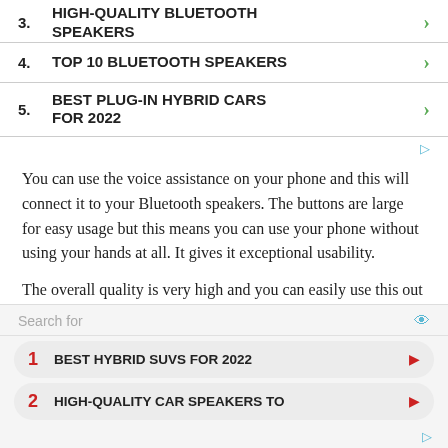3. HIGH-QUALITY BLUETOOTH SPEAKERS
4. TOP 10 BLUETOOTH SPEAKERS
5. BEST PLUG-IN HYBRID CARS FOR 2022
You can use the voice assistance on your phone and this will connect it to your Bluetooth speakers. The buttons are large for easy usage but this means you can use your phone without using your hands at all. It gives it exceptional usability.
The overall quality is very high and you can easily use this out of the car if you wanted to. Pairing with your
1 BEST HYBRID SUVS FOR 2022
2 HIGH-QUALITY CAR SPEAKERS TO